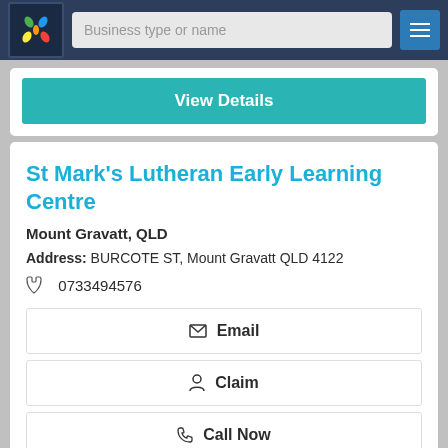Business type or name
View Details
St Mark's Lutheran Early Learning Centre
Mount Gravatt, QLD
Address: BURCOTE ST, Mount Gravatt QLD 4122
0733494576
Email
Claim
Call Now